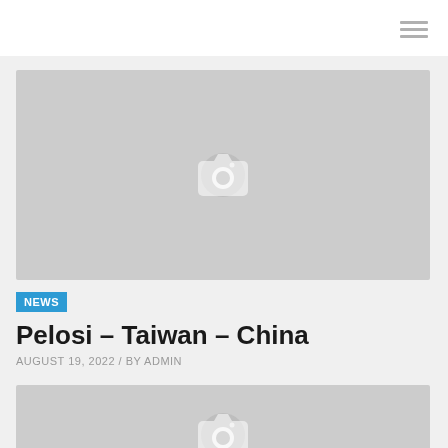[Figure (photo): Gray placeholder image with camera icon, first article image]
NEWS
Pelosi – Taiwan – China
AUGUST 19, 2022 / BY ADMIN
[Figure (photo): Gray placeholder image with camera icon, second article image]